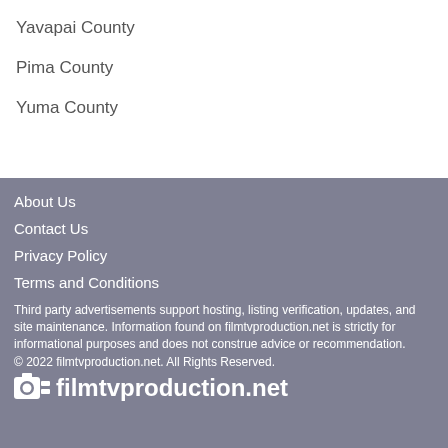Yavapai County
Pima County
Yuma County
About Us
Contact Us
Privacy Policy
Terms and Conditions
Third party advertisements support hosting, listing verification, updates, and site maintenance. Information found on filmtvproduction.net is strictly for informational purposes and does not construe advice or recommendation.
© 2022 filmtvproduction.net. All Rights Reserved.
filmtvproduction.net